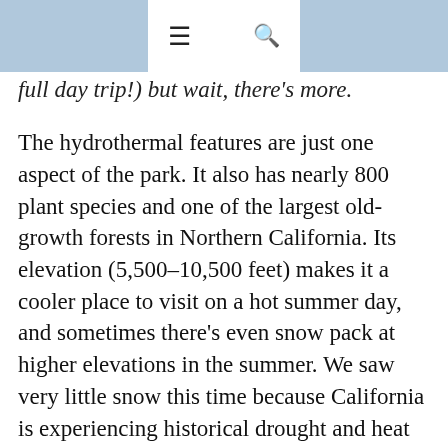≡  🔍
full day trip!) but wait, there's more.
The hydrothermal features are just one aspect of the park. It also has nearly 800 plant species and one of the largest old-growth forests in Northern California. Its elevation (5,500–10,500 feet) makes it a cooler place to visit on a hot summer day, and sometimes there's even snow pack at higher elevations in the summer. We saw very little snow this time because California is experiencing historical drought and heat levels.
Since we had Gustie with us, we confined ourselves to what we could